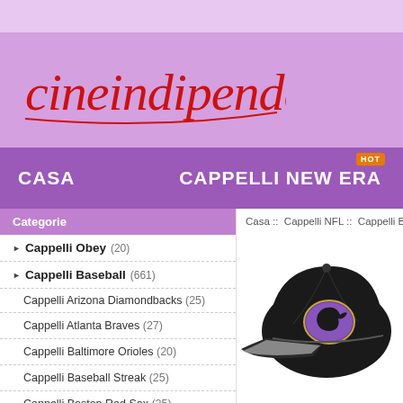[Figure (logo): cineindipendente script logo in red on purple/lavender background]
CASA   CAPPELLI NEW ERA
Categorie
Casa :: Cappelli NFL :: Cappelli Baltimor...
Cappelli Obey (20)
Cappelli Baseball (661)
Cappelli Arizona Diamondbacks (25)
Cappelli Atlanta Braves (27)
Cappelli Baltimore Orioles (20)
Cappelli Baseball Streak (25)
Cappelli Boston Red Sox (25)
[Figure (photo): Black Baltimore Ravens NFL cap with gold and purple raven logo on front, photographic product image]